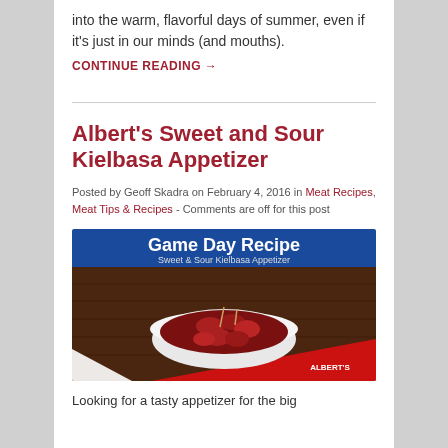into the warm, flavorful days of summer, even if it’s just in our minds (and mouths).
CONTINUE READING →
Albert’s Sweet and Sour Kielbasa Appetizer
Posted by Geoff Skadra on February 4, 2016 in Meat Recipes, Meat Tips & Recipes - Comments are off for this post
[Figure (photo): Game Day Recipe image showing Sweet & Sour Kielbasa Appetizer in a bowl with sauce, with Albert's branding logo in bottom right corner]
Looking for a tasty appetizer for the big